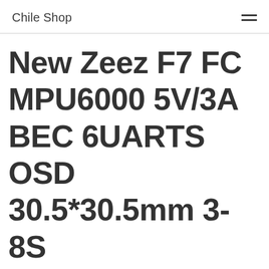Chile Shop
New Zeez F7 FC MPU6000 5V/3A BEC 6UARTS OSD 30.5*30.5mm 3-8S